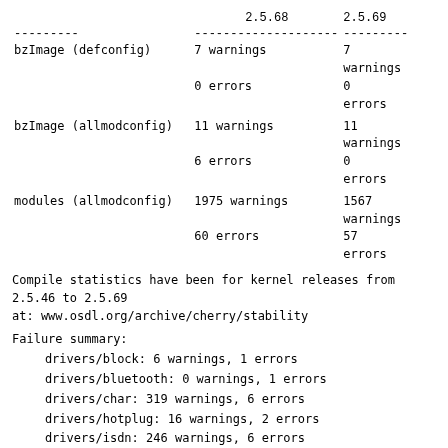|  | 2.5.68 | 2.5.69 |
| --- | --- | --- |
| bzImage (defconfig) | 7 warnings | 7 warnings |
|  | 0 errors | 0 errors |
| bzImage (allmodconfig) | 11 warnings | 11 warnings |
|  | 6 errors | 0 errors |
| modules (allmodconfig) | 1975 warnings | 1567 warnings |
|  | 60 errors | 57 errors |
Compile statistics have been for kernel releases from
2.5.46 to 2.5.69
at: www.osdl.org/archive/cherry/stability
Failure summary:
drivers/block: 6 warnings, 1 errors
drivers/bluetooth: 0 warnings, 1 errors
drivers/char: 319 warnings, 6 errors
drivers/hotplug: 16 warnings, 2 errors
drivers/isdn: 246 warnings, 6 errors